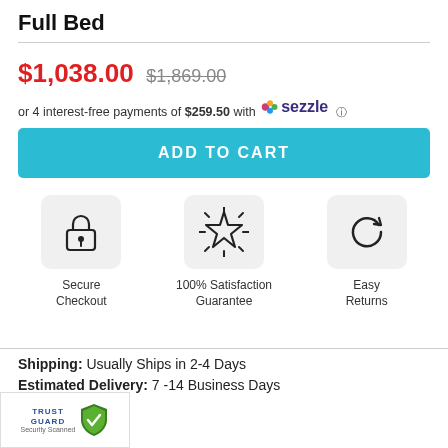Full Bed
$1,038.00  $1,869.00
or 4 interest-free payments of $259.50 with Sezzle
ADD TO CART
[Figure (infographic): Three trust icons: Secure Checkout (padlock), 100% Satisfaction Guarantee (star), Easy Returns (circular arrow)]
Shipping: Usually Ships in 2-4 Days
Estimated Delivery: 7 -14 Business Days
[Figure (logo): Trust Guard Security Scanned badge with shield icon]